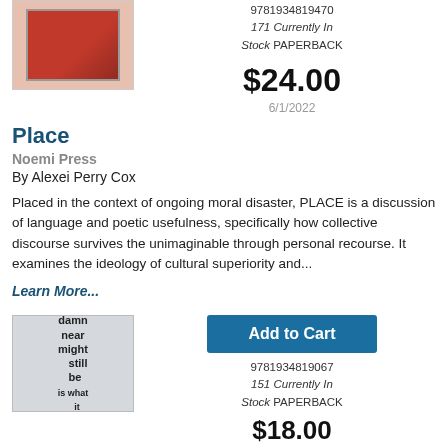[Figure (photo): Book cover with red/orange design, partially visible at top]
9781934819470
171 Currently In Stock PAPERBACK
$24.00
6/1/2022
Place
Noemi Press
By Alexei Perry Cox
Placed in the context of ongoing moral disaster, PLACE is a discussion of language and poetic usefulness, specifically how collective discourse survives the unimaginable through personal recourse. It examines the ideology of cultural superiority and...
Learn More...
[Figure (photo): Book cover with text: damn near might still be is what it [continues off page], gray/blue toned image]
Add to Cart
9781934819067
151 Currently In Stock PAPERBACK
$18.00